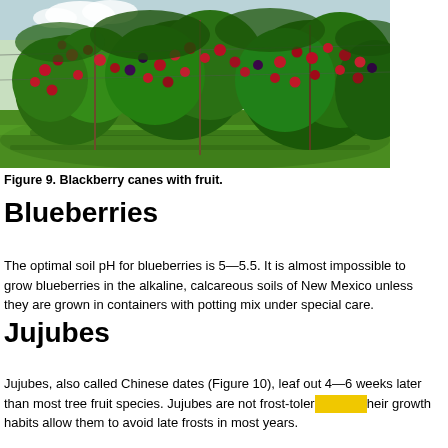[Figure (photo): Blackberry canes with red/dark fruit hanging from plants in a green field/orchard row]
Figure 9. Blackberry canes with fruit.
Blueberries
The optimal soil pH for blueberries is 5—5.5. It is almost impossible to grow blueberries in the alkaline, calcareous soils of New Mexico unless they are grown in containers with potting mix under special care.
Jujubes
Jujubes, also called Chinese dates (Figure 10), leaf out 4—6 weeks later than most tree fruit species. Jujubes are not frost-tolerant; their growth habits allow them to avoid late frosts in most years. rarely miss a crop even in years with severe late frosts. The...